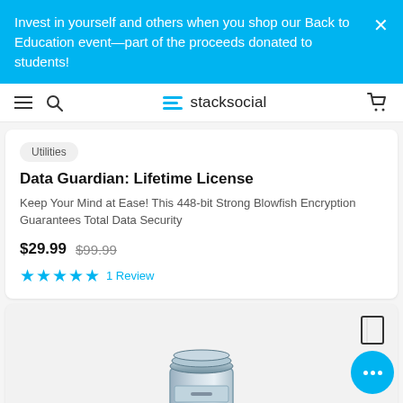Invest in yourself and others when you shop our Back to Education event—part of the proceeds donated to students!
stacksocial
Data Guardian: Lifetime License
Keep Your Mind at Ease! This 448-bit Strong Blowfish Encryption Guarantees Total Data Security
$29.99  $99.99  ★★★★★  1 Review
[Figure (illustration): Partially visible software product image showing a metallic filing cabinet or data storage icon with discs]